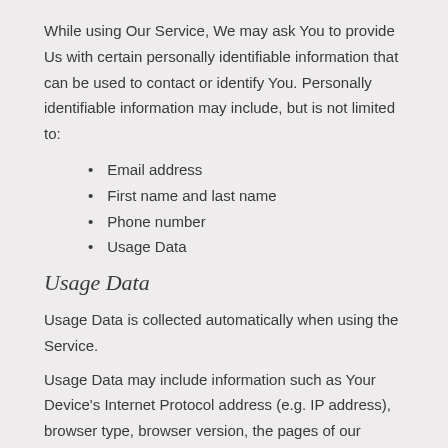While using Our Service, We may ask You to provide Us with certain personally identifiable information that can be used to contact or identify You. Personally identifiable information may include, but is not limited to:
Email address
First name and last name
Phone number
Usage Data
Usage Data
Usage Data is collected automatically when using the Service.
Usage Data may include information such as Your Device's Internet Protocol address (e.g. IP address), browser type, browser version, the pages of our Service that You visit, the time and date of Your visit, the time spent on those pages, unique device identifiers and